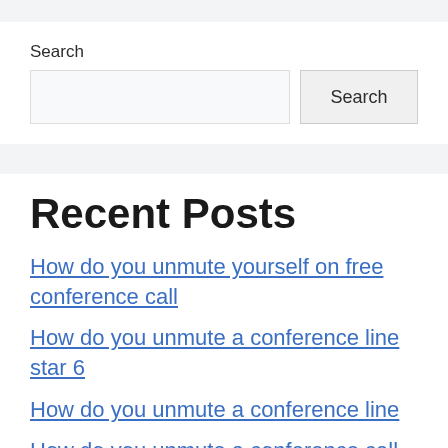Search
Search [input field] [Search button]
Recent Posts
How do you unmute yourself on free conference call
How do you unmute a conference line star 6
How do you unmute a conference line
How do you unmute a conference call 1866 245 5314